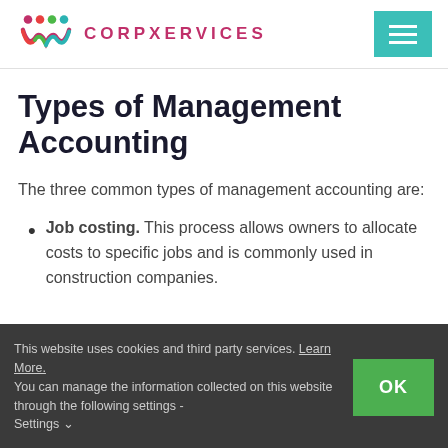[Figure (logo): CorpXervices logo with colorful dots and arc shapes in pink, red, green, and teal, followed by the brand name CORPXERVICES in bold pink letters]
Types of Management Accounting
The three common types of management accounting are:
Job costing. This process allows owners to allocate costs to specific jobs and is commonly used in construction companies.
This website uses cookies and third party services. Learn More. You can manage the information collected on this website through the following settings - Settings